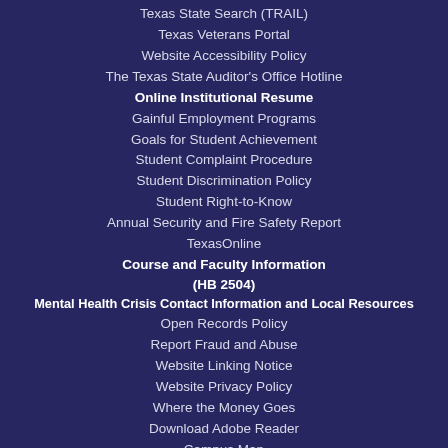Texas State Search (TRAIL)
Texas Veterans Portal
Website Accessibility Policy
The Texas State Auditor's Office Hotline
Online Institutional Resume
Gainful Employment Programs
Goals for Student Achievement
Student Complaint Procedure
Student Discrimination Policy
Student Right-to-Know
Annual Security and Fire Safety Report
TexasOnline
Course and Faculty Information (HB 2504)
Mental Health Crisis Contact Information and Local Resources
Open Records Policy
Report Fraud and Abuse
Website Linking Notice
Website Privacy Policy
Where the Money Goes
Download Adobe Reader
Campus Map